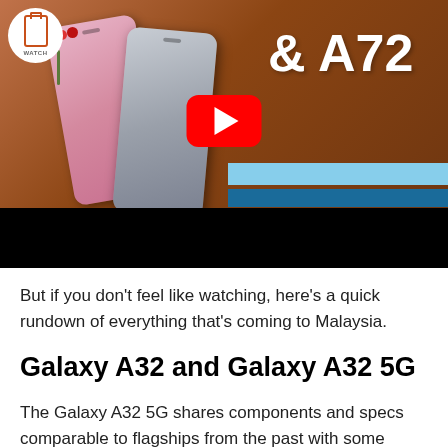[Figure (screenshot): Video thumbnail showing two Samsung phones (pink and gray) laid on a terracotta surface with dried red flowers, a YouTube play button in the center, a white circular watch logo in the top-left corner, and text '& A72' in white on the right side with blue stripes. A black letterbox bar runs along the bottom of the thumbnail.]
But if you don't feel like watching, here's a quick rundown of everything that's coming to Malaysia.
Galaxy A32 and Galaxy A32 5G
The Galaxy A32 5G shares components and specs comparable to flagships from the past with some